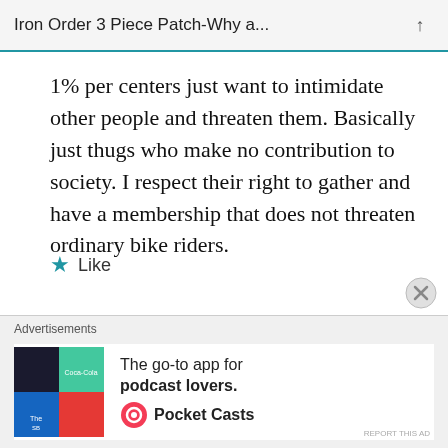Iron Order 3 Piece Patch-Why a...
1% per centers just want to intimidate other people and threaten them. Basically just thugs who make no contribution to society. I respect their right to gather and have a membership that does not threaten ordinary bike riders.
★ Like
[Figure (infographic): Advertisement banner: The go-to app for podcast lovers - Pocket Casts]
Advertisements